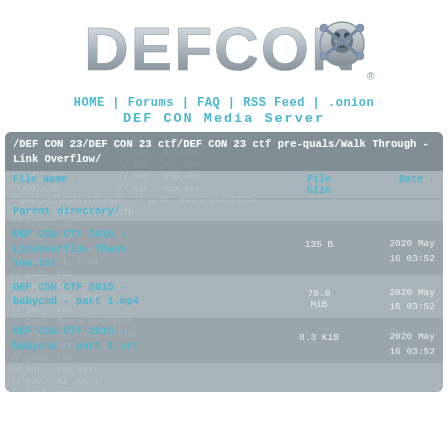[Figure (logo): DEFCON logo with skull and crossbones emblem, metallic silver letters]
HOME | Forums | FAQ | RSS Feed | .onion
DEF CON Media Server
/DEF CON 23/DEF CON 23 ctf/DEF CON 23 ctf pre-quals/Walk Through - Link Overflow/
| File Name ↓ | File Size | Date ↓ |
| --- | --- | --- |
| Parent directory/ |  |  |
| DEF CON CTF 2015 - LiveOverflow Thank You.txt | 135 B | 2020 May 16 03:52 |
| DEF CON CTF 2015 - babycmd - part 1.mp4 | 78.0 MiB | 2020 May 16 03:52 |
| DEF CON CTF 2015 - babycmd - part 1.srt | 8.3 KiB | 2020 May 16 03:52 |